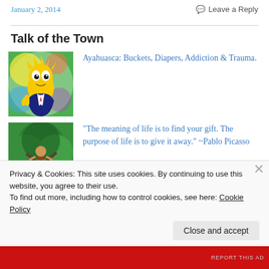January 2, 2014
Leave a Reply
Talk of the Town
Ayahuasca: Buckets, Diapers, Addiction & Trauma.
[Figure (illustration): Cartoon character with yellow body wearing a suit, psychedelic colorful background]
"The meaning of life is to find your gift. The purpose of life is to give it away." ~Pablo Picasso
[Figure (photo): Person sitting in a tree with green foliage]
Privacy & Cookies: This site uses cookies. By continuing to use this website, you agree to their use.
To find out more, including how to control cookies, see here: Cookie Policy
Close and accept